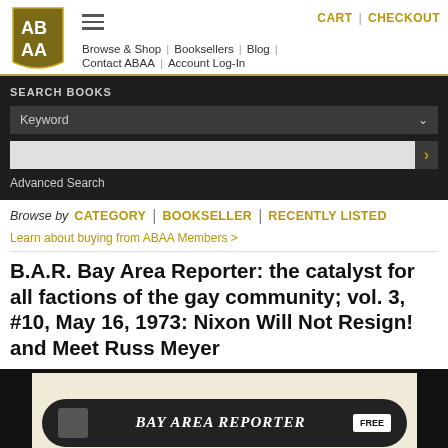[Figure (logo): ABAA logo - gold shield with AB/AA text]
CART | CHECKOUT
Browse & Shop | Booksellers | Blog | Contact ABAA | Account Log-In
SEARCH BOOKS
Keyword
Advanced Search
Browse by CATEGORY | BOOKSELLER | RECENTLY LISTED
Learn about buying from ABAA Members >
B.A.R. Bay Area Reporter: the catalyst for all factions of the gay community; vol. 3, #10, May 16, 1973: Nixon Will Not Resign! and Meet Russ Meyer
[Figure (photo): Newspaper front page showing BAY AREA REPORTER masthead on beige background with black border]